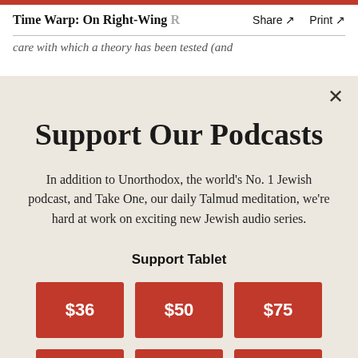Time Warp: On Right-Wing R   Share ↗   Print ↗
care with which a theory has been tested (and
Support Our Podcasts
In addition to Unorthodox, the world's No. 1 Jewish podcast, and Take One, our daily Talmud meditation, we're hard at work on exciting new Jewish audio series.
Support Tablet
$36
$50
$75